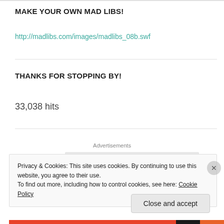MAKE YOUR OWN MAD LIBS!
http://madlibs.com/images/madlibs_08b.swf
THANKS FOR STOPPING BY!
33,038 hits
Advertisements
Privacy & Cookies: This site uses cookies. By continuing to use this website, you agree to their use.
To find out more, including how to control cookies, see here: Cookie Policy
Close and accept